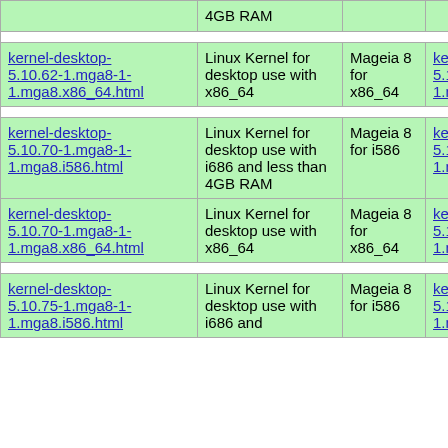| Link | Description | Distro | RPM |
| --- | --- | --- | --- |
| kernel-desktop-5.10.62-1.mga8-1-1.mga8.x86_64.html | Linux Kernel for desktop use with x86_64 | Mageia 8 for x86_64 | kernel-desktop-5.10.62-1.mga8-1-1.mga8.x86_64.rpm |
| kernel-desktop-5.10.70-1.mga8-1-1.mga8.i586.html | Linux Kernel for desktop use with i686 and less than 4GB RAM | Mageia 8 for i586 | kernel-desktop-5.10.70-1.mga8-1-1.mga8.i586.rpm |
| kernel-desktop-5.10.70-1.mga8-1-1.mga8.x86_64.html | Linux Kernel for desktop use with x86_64 | Mageia 8 for x86_64 | kernel-desktop-5.10.70-1.mga8-1-1.mga8.x86_64.rpm |
| kernel-desktop-5.10.75-1.mga8-1-1.mga8.i586.html | Linux Kernel for desktop use with i686 and | Mageia 8 for i586 | kernel-desktop-5.10.75-1.mga8-1-1.mga8.i586.rpm |